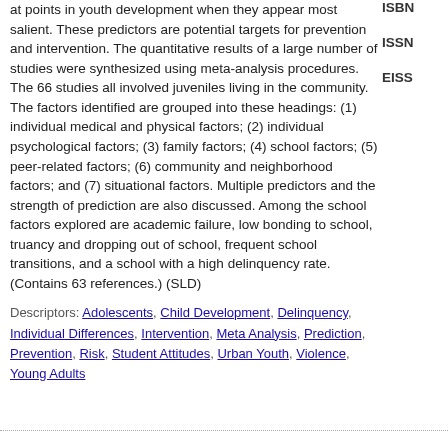at points in youth development when they appear most salient. These predictors are potential targets for prevention and intervention. The quantitative results of a large number of studies were synthesized using meta-analysis procedures. The 66 studies all involved juveniles living in the community. The factors identified are grouped into these headings: (1) individual medical and physical factors; (2) individual psychological factors; (3) family factors; (4) school factors; (5) peer-related factors; (6) community and neighborhood factors; and (7) situational factors. Multiple predictors and the strength of prediction are also discussed. Among the school factors explored are academic failure, low bonding to school, truancy and dropping out of school, frequent school transitions, and a school with a high delinquency rate. (Contains 63 references.) (SLD)
Descriptors: Adolescents, Child Development, Delinquency, Individual Differences, Intervention, Meta Analysis, Prediction, Prevention, Risk, Student Attitudes, Urban Youth, Violence, Young Adults
ISBN
ISSN
EISS